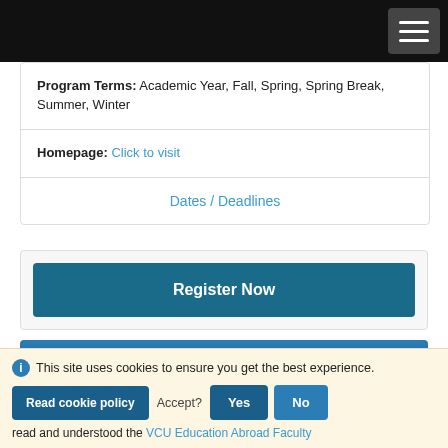Program Terms: Academic Year, Fall, Spring, Spring Break, Summer, Winter
Homepage: Click to visit
Dates / Deadlines
Register Now
Program Description:
This site uses cookies to ensure you get the best experience. Read cookie policy Accept? Yes No
read and understood the VCU Education Abroad Faculty